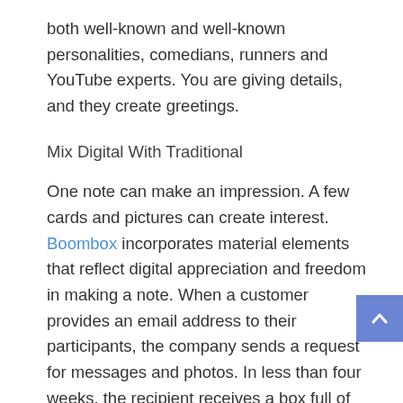both well-known and well-known personalities, comedians, runners and YouTube experts. You are giving details, and they create greetings.
Mix Digital With Traditional
One note can make an impression. A few cards and pictures can create interest. Boombox incorporates material elements that reflect digital appreciation and freedom in making a note. When a customer provides an email address to their participants, the company sends a request for messages and photos. In less than four weeks, the recipient receives a box full of cards and pictures. This service can be good for a group of thanks from family to parent, or high school students thanking a teacher before graduating. They also give a digito and up to 50 digital cards for customers.
When developing your message, do not be afraid to put it